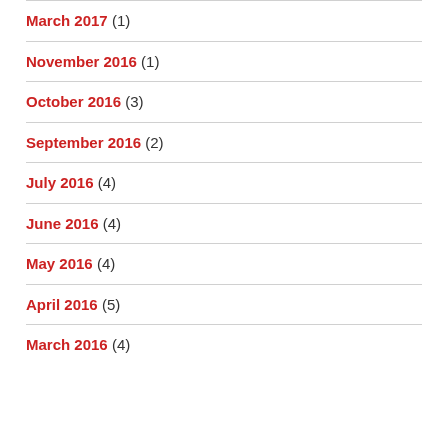March 2017 (1)
November 2016 (1)
October 2016 (3)
September 2016 (2)
July 2016 (4)
June 2016 (4)
May 2016 (4)
April 2016 (5)
March 2016 (4)